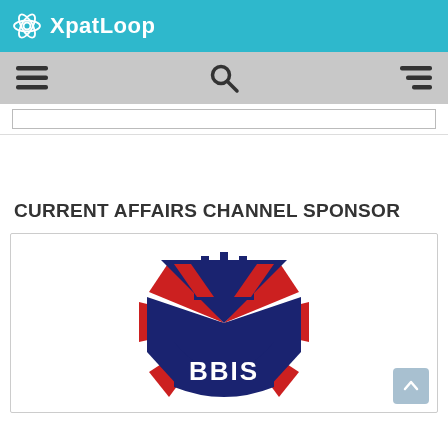XpatLoop
[Figure (screenshot): Navigation bar with hamburger menu icon, search icon, and right-aligned menu icon on grey background]
[Figure (screenshot): Search input bar (empty)]
CURRENT AFFAIRS CHANNEL SPONSOR
[Figure (logo): BBIS logo — navy blue and red Union Jack shield design with crown motif and BBIS text]